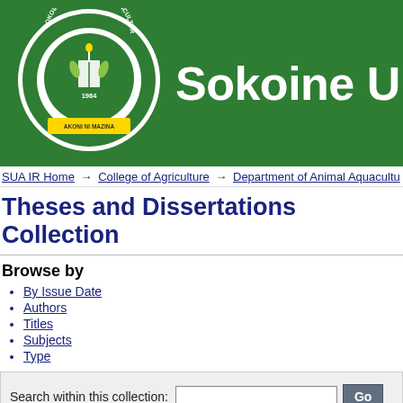[Figure (logo): Sokoine University of Agriculture circular logo with green background, established 1984]
Sokoine Universi
SUA IR Home → College of Agriculture → Department of Animal Aquacultu
Theses and Dissertations Collection
Browse by
By Issue Date
Authors
Titles
Subjects
Type
Search within this collection:
Recent Submissions